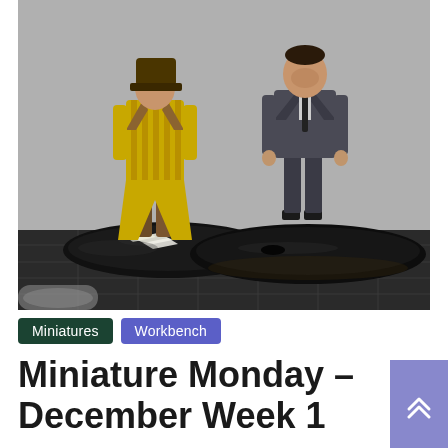[Figure (photo): Two painted tabletop miniature figurines on circular black bases. Left figure wears a yellow striped coat with brown boots, base has white paper/material pieces on it. Right figure wears a dark grey suit and stands on a clean black base. Background is grey foam/texture material. Miniatures are sitting on a dark cutting mat with grid lines.]
Miniatures   Workbench
Miniature Monday – December Week 1